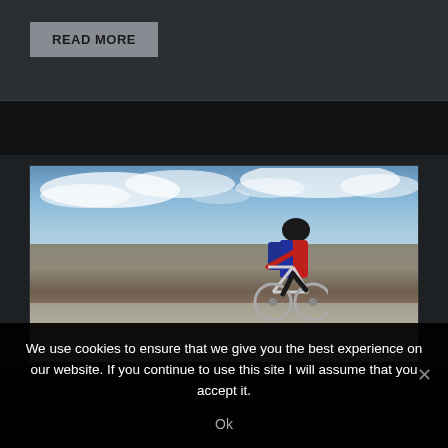READ MORE
[Figure (photo): Mountain biker on rocky mountain summit overlooking a vast mountain landscape under a partly cloudy sky]
We use cookies to ensure that we give you the best experience on our website. If you continue to use this site I will assume that you accept it.
Ok